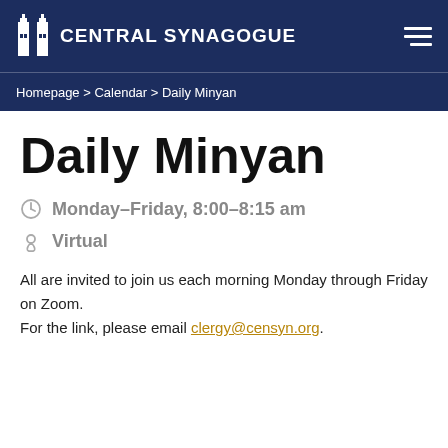CENTRAL SYNAGOGUE
Homepage > Calendar > Daily Minyan
Daily Minyan
Monday–Friday, 8:00–8:15 am
Virtual
All are invited to join us each morning Monday through Friday on Zoom.
For the link, please email clergy@censyn.org.